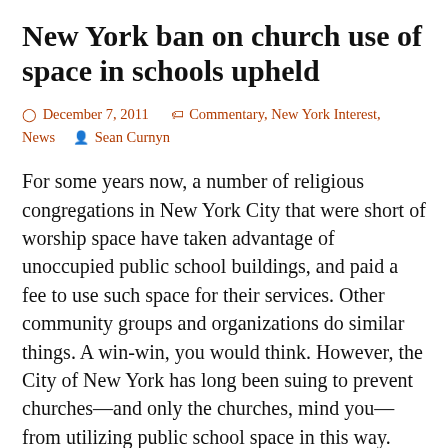New York ban on church use of space in schools upheld
⊙ December 7, 2011    🏷 Commentary, New York Interest, News    👤 Sean Curnyn
For some years now, a number of religious congregations in New York City that were short of worship space have taken advantage of unoccupied public school buildings, and paid a fee to use such space for their services. Other community groups and organizations do similar things. A win-win, you would think. However, the City of New York has long been suing to prevent churches—and only the churches, mind you—from utilizing public school space in this way. Something to do, I guess, with the terrible danger to innocent kids of merely knowing that the space they're sitting in might have been occupied the evening before by a person who